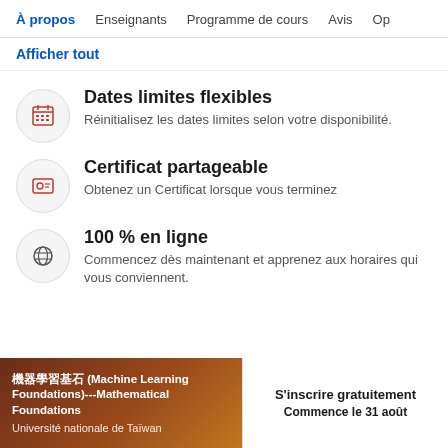À propos  Enseignants  Programme de cours  Avis  Op
Afficher tout
Dates limites flexibles — Réinitialisez les dates limites selon votre disponibilité.
Certificat partageable — Obtenez un Certificat lorsque vous terminez
100 % en ligne — Commencez dès maintenant et apprenez aux horaires qui vous conviennent.
機器學習基石 (Machine Learning Foundations)---Mathematical Foundations
Université nationale de Taïwan
S'inscrire gratuitement
Commence le 31 août